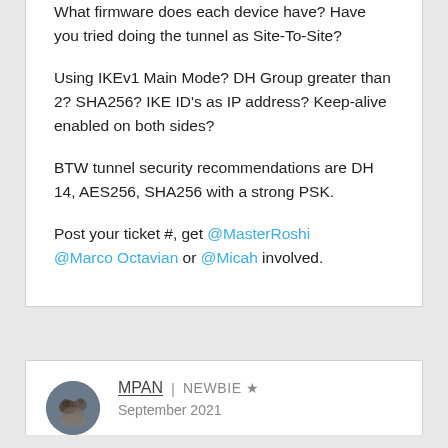What firmware does each device have? Have you tried doing the tunnel as Site-To-Site?
Using IKEv1 Main Mode? DH Group greater than 2? SHA256? IKE ID's as IP address? Keep-alive enabled on both sides?
BTW tunnel security recommendations are DH 14, AES256, SHA256 with a strong PSK.
Post your ticket #, get @MasterRoshi @Marco Octavian or @Micah involved.
MPAN | NEWBIE ★
September 2021